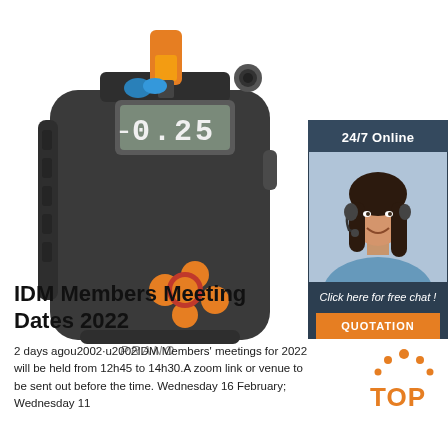[Figure (photo): A dark grey portable electronic device (body camera/recorder) with an orange USB/memory card stick inserted at the top, orange control buttons, and a small digital display showing '025'. Brand name 'PRANO' visible.]
[Figure (infographic): Sidebar advertisement panel with dark blue-grey background. Top section says '24/7 Online'. Middle section shows a photo of a smiling woman wearing a headset/microphone. Bottom section says 'Click here for free chat!' and has an orange button labeled 'QUOTATION'.]
IDM Members Meeting Dates 2022
2 days agou2002·u2002IDM Members' meetings for 2022 will be held from 12h45 to 14h30.A zoom link or venue to be sent out before the time. Wednesday 16 February; Wednesday 11